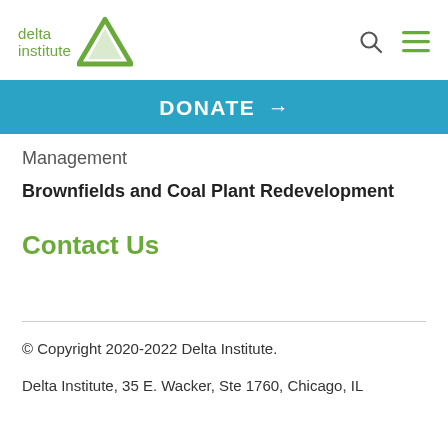delta institute
DONATE →
Management
Brownfields and Coal Plant Redevelopment
Contact Us
© Copyright 2020-2022 Delta Institute.
Delta Institute, 35 E. Wacker, Ste 1760, Chicago, IL